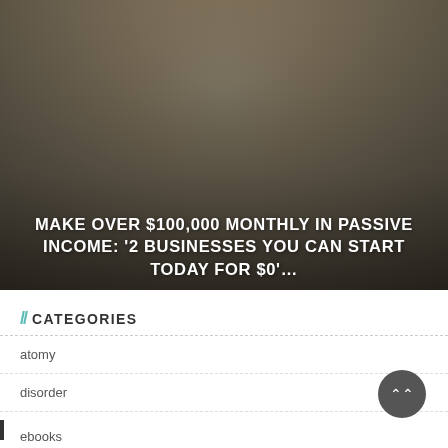[Figure (photo): Woman sitting on bed with laptop, holding a white mug, looking at screen. Background is dimly lit room. Overlay text reads: MAKE OVER $100,000 MONTHLY IN PASSIVE INCOME: '2 BUSINESSES YOU CAN START TODAY FOR $0'...]
MAKE OVER $100,000 MONTHLY IN PASSIVE INCOME: '2 BUSINESSES YOU CAN START TODAY FOR $0'...
// CATEGORIES
atomy
disorder
ebooks